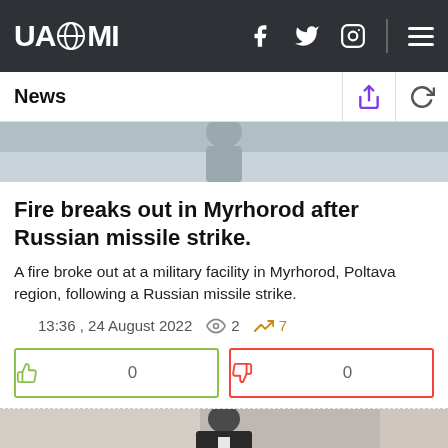UAZMI
News
[Figure (photo): Hero image strip, muted gray/blue background]
Fire breaks out in Myrhorod after Russian missile strike.
A fire broke out at a military facility in Myrhorod, Poltava region, following a Russian missile strike.
13:36 , 24 August 2022  👁 2  📈 7
[Figure (photo): Bottom photo strip showing a man in a dark suit with blue tie]